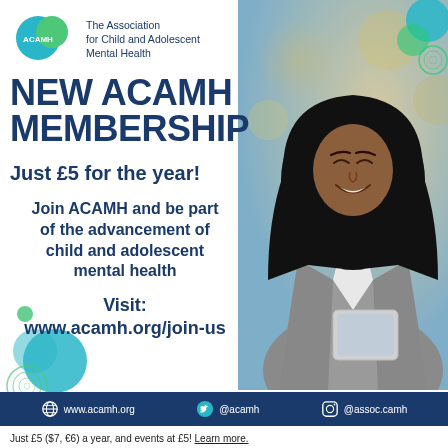[Figure (logo): ACAMH logo — overlapping teal and green circles with ACAMH text]
The Association for Child and Adolescent Mental Health
[Figure (photo): Smiling woman wearing a black hijab and grey blazer looking at a tablet device]
NEW ACAMH MEMBERSHIP
Just £5 for the year!
Join ACAMH and be part of the advancement of child and adolescent mental health
Visit: www.acamh.org/join-us
www.acamh.org   @acamh   @assoc.camh
Just £5 ($7, €6) a year, and events at £5! Learn more.